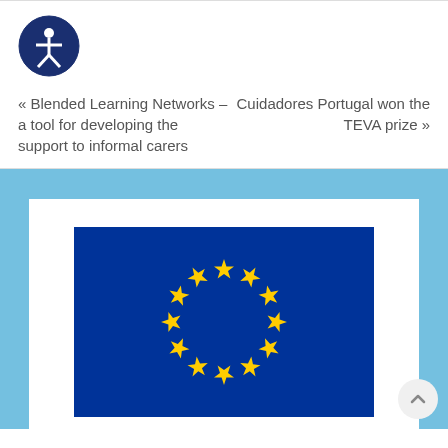[Figure (logo): Accessibility icon: white person figure inside a dark blue circle]
« Blended Learning Networks – a tool for developing the support to informal carers
Cuidadores Portugal won the TEVA prize »
[Figure (illustration): European Union flag showing circle of 12 yellow stars on dark blue background, partially visible, inside a white card on a light blue background]